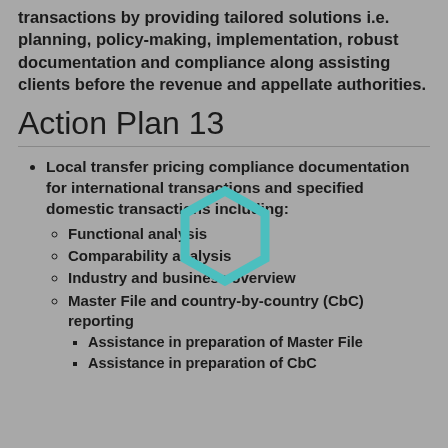transactions by providing tailored solutions i.e. planning, policy-making, implementation, robust documentation and compliance along assisting clients before the revenue and appellate authorities.
Action Plan 13
[Figure (illustration): Teal/cyan hexagon outline shape overlaying the list content]
Local transfer pricing compliance documentation for international transactions and specified domestic transactions including:
Functional analysis
Comparability analysis
Industry and business overview
Master File and country-by-country (CbC) reporting
Assistance in preparation of Master File
Assistance in preparation of CbC